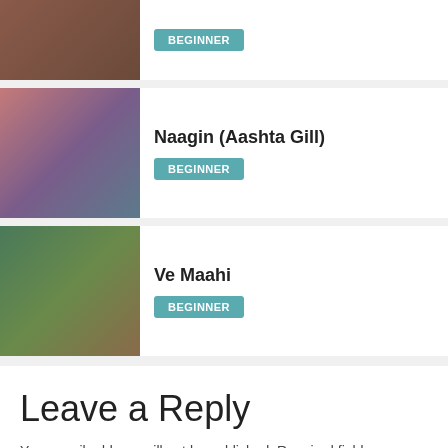[Figure (photo): Partial top card with a man in a red turban, BEGINNER badge visible]
[Figure (photo): Two women, one in red outfit, one in black — Naagin Aashta Gill]
Naagin (Aashta Gill)
BEGINNER
[Figure (photo): A man in green turban and beard with a woman in white dupatta — Ve Maahi]
Ve Maahi
BEGINNER
Leave a Reply
Your email address will not be published. Required fields are marked *
Comment